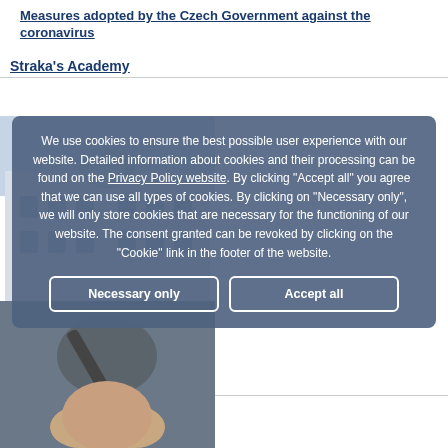Measures adopted by the Czech Government against the coronavirus
Straka's Academy
[Figure (photo): Photo of Straka's Academy building and a person below, partially obscured by cookie consent overlay]
We use cookies to ensure the best possible user experience with our website. Detailed information about cookies and their processing can be found on the Privacy Policy website. By clicking "Accept all" you agree that we can use all types of cookies. By clicking on “Necessary only”, we will only store cookies that are necessary for the functioning of our website. The consent granted can be revoked by clicking on the “Cookie” link in the footer of the website.
Introducing
Necessary only
Accept all